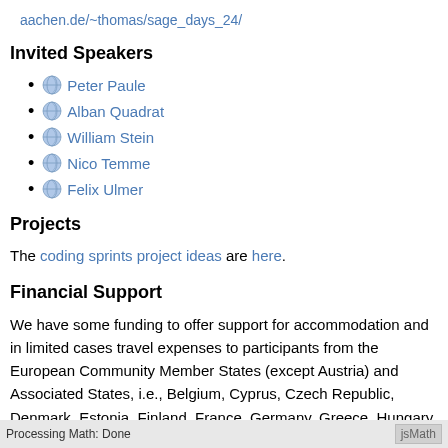aachen.de/~thomas/sage_days_24/
Invited Speakers
Peter Paule
Alban Quadrat
William Stein
Nico Temme
Felix Ulmer
Projects
The coding sprints project ideas are here.
Financial Support
We have some funding to offer support for accommodation and in limited cases travel expenses to participants from the European Community Member States (except Austria) and Associated States, i.e., Belgium, Cyprus, Czech Republic, Denmark, Estonia, Finland, France, Germany, Greece, Hungary, Ireland, Lithuania, Luxembourg, Malta, Netherlands
Processing Math: Done | jsMath